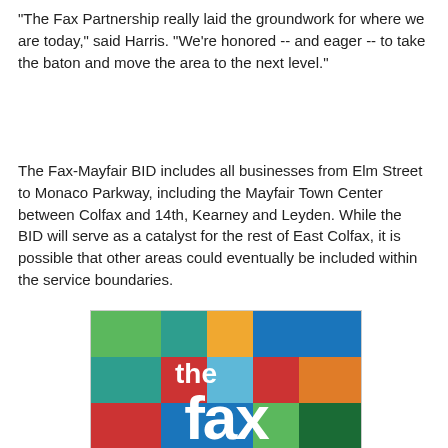"The Fax Partnership really laid the groundwork for where we are today," said Harris. "We're honored -- and eager -- to take the baton and move the area to the next level."
The Fax-Mayfair BID includes all businesses from Elm Street to Monaco Parkway, including the Mayfair Town Center between Colfax and 14th, Kearney and Leyden. While the BID will serve as a catalyst for the rest of East Colfax, it is possible that other areas could eventually be included within the service boundaries.
[Figure (logo): The Fax logo — colorful grid of squares (green, teal, orange, blue, red, light blue, dark orange, dark green) with large white lowercase text 'the fax' overlaid on a red/blue/green background.]